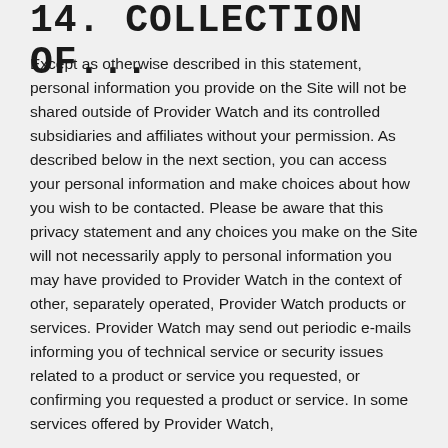14. COLLECTION OF...
Except as otherwise described in this statement, personal information you provide on the Site will not be shared outside of Provider Watch and its controlled subsidiaries and affiliates without your permission. As described below in the next section, you can access your personal information and make choices about how you wish to be contacted. Please be aware that this privacy statement and any choices you make on the Site will not necessarily apply to personal information you may have provided to Provider Watch in the context of other, separately operated, Provider Watch products or services. Provider Watch may send out periodic e-mails informing you of technical service or security issues related to a product or service you requested, or confirming you requested a product or service. In some services offered by Provider Watch,